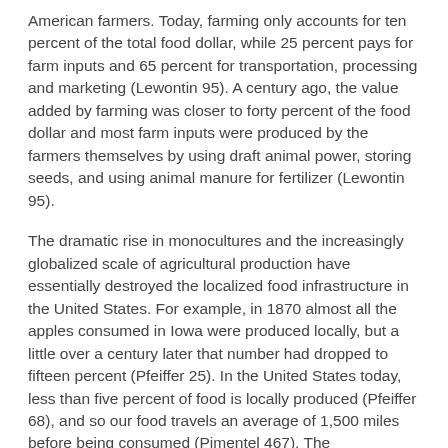American farmers. Today, farming only accounts for ten percent of the total food dollar, while 25 percent pays for farm inputs and 65 percent for transportation, processing and marketing (Lewontin 95). A century ago, the value added by farming was closer to forty percent of the food dollar and most farm inputs were produced by the farmers themselves by using draft animal power, storing seeds, and using animal manure for fertilizer (Lewontin 95).
The dramatic rise in monocultures and the increasingly globalized scale of agricultural production have essentially destroyed the localized food infrastructure in the United States. For example, in 1870 almost all the apples consumed in Iowa were produced locally, but a little over a century later that number had dropped to fifteen percent (Pfeiffer 25). In the United States today, less than five percent of food is locally produced (Pfeiffer 68), and so our food travels an average of 1,500 miles before being consumed (Pimentel 467). The transportation of food from farm gate to dinner plate constitutes fourteen percent of the energy used in the entire food system (Brown 35). Transporting a head of lettuce from California to New York